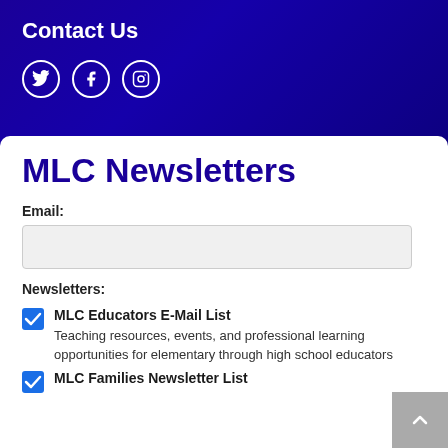Contact Us
[Figure (illustration): Social media icons: Twitter bird, Facebook f, Instagram camera — white circle outlines on dark blue background]
MLC Newsletters
Email:
Newsletters:
MLC Educators E-Mail List — Teaching resources, events, and professional learning opportunities for elementary through high school educators
MLC Families Newsletter List